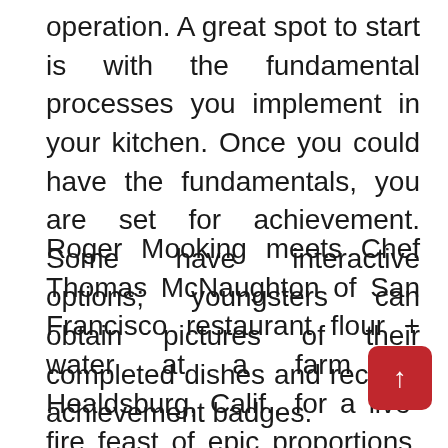operation. A great spot to start is with the fundamental processes you implement in your kitchen. Once you could have the fundamentals, you are set for achievement. Some have interactive options; youngsters can obtain pictures of their completed dishes and receive achievement badges.
Roger Mooking meets Chef Thomas McNaughton of San Francisco restaurant flour + water at a farm in Healdsburg, Calif., for a live-fire feast of epic proportions. They affix an entire pig to a metallic cross to cook over hot coals for a number of hours, basted typically with a combination of butter, herbs, warm spices and citrus. The pig roast drippings fall right into a potato-filled forged iron pan set over the new coals, and complete onions and squash are nestled immediately within the embers. To full this feast, Roger and Thomas droop chickens over a